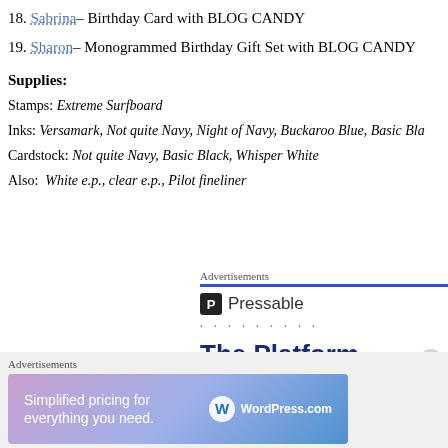18. Sabrina– Birthday Card with BLOG CANDY
19. Sharon– Monogrammed Birthday Gift Set with BLOG CANDY
Supplies:
Stamps: Extreme Surfboard
Inks: Versamark, Not quite Navy, Night of Navy, Buckaroo Blue, Basic Bla...
Cardstock: Not quite Navy, Basic Black, Whisper White
Also:  White e.p., clear e.p., Pilot fineliner
[Figure (screenshot): Pressable advertisement banner - The Platform Where WordPress...]
[Figure (screenshot): WordPress.com advertisement - Simplified pricing for everything you need.]